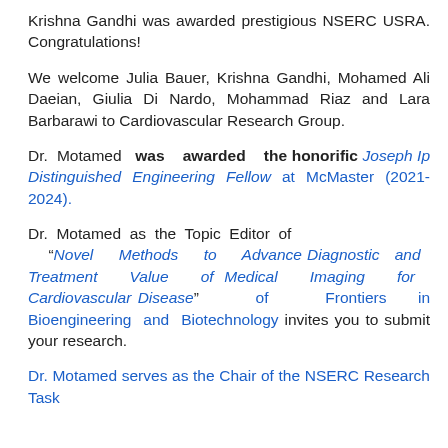Krishna Gandhi was awarded prestigious NSERC USRA. Congratulations!
We welcome Julia Bauer, Krishna Gandhi, Mohamed Ali Daeian, Giulia Di Nardo, Mohammad Riaz and Lara Barbarawi to Cardiovascular Research Group.
Dr. Motamed was awarded the honorific Joseph Ip Distinguished Engineering Fellow at McMaster (2021-2024).
Dr. Motamed as the Topic Editor of “Novel Methods to Advance Diagnostic and Treatment Value of Medical Imaging for Cardiovascular Disease” of Frontiers in Bioengineering and Biotechnology invites you to submit your research.
Dr. Motamed serves as the Chair of the NSERC Research Task...